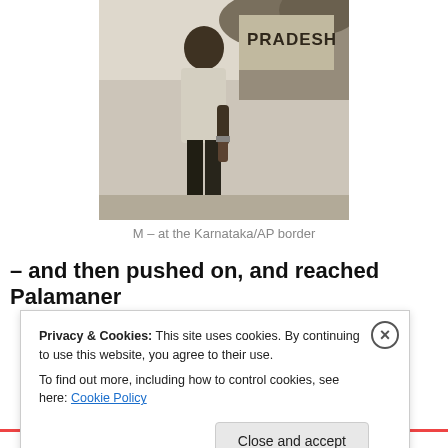[Figure (photo): Black and white photograph of a person standing near a sign that reads 'PRADESH', at the Karnataka/AP border.]
M – at the Karnataka/AP border
– and then pushed on, and reached Palamaner
Privacy & Cookies: This site uses cookies. By continuing to use this website, you agree to their use. To find out more, including how to control cookies, see here: Cookie Policy